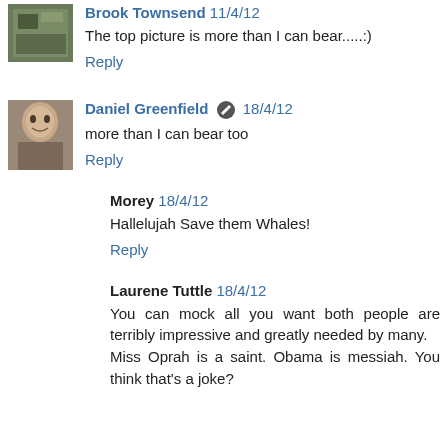Brook Townsend 11/4/12
The top picture is more than I can bear.....:)
Reply
Daniel Greenfield [edit icon] 18/4/12
more than I can bear too
Reply
Morey 18/4/12
Hallelujah Save them Whales!
Reply
Laurene Tuttle 18/4/12
You can mock all you want both people are terribly impressive and greatly needed by many.
Miss Oprah is a saint. Obama is messiah. You think that's a joke?